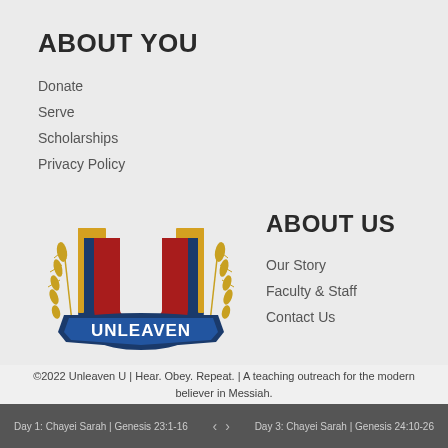ABOUT YOU
Donate
Serve
Scholarships
Privacy Policy
[Figure (logo): Unleaven U logo with wheat stalks, large U in navy and gold with red letter forms, banner reading UNLEAVEN, and tagline HEAR. OBEY. REPEAT.]
ABOUT US
Our Story
Faculty & Staff
Contact Us
©2022 Unleaven U | Hear. Obey. Repeat. | A teaching outreach for the modern believer in Messiah.
Day 1: Chayei Sarah | Genesis 23:1-16   <   >   Day 3: Chayei Sarah | Genesis 24:10-26